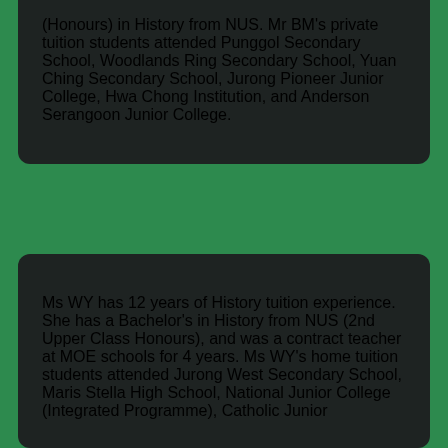(Honours) in History from NUS. Mr BM's private tuition students attended Punggol Secondary School, Woodlands Ring Secondary School, Yuan Ching Secondary School, Jurong Pioneer Junior College, Hwa Chong Institution, and Anderson Serangoon Junior College.
Ms WY has 12 years of History tuition experience. She has a Bachelor's in History from NUS (2nd Upper Class Honours), and was a contract teacher at MOE schools for 4 years. Ms WY's home tuition students attended Jurong West Secondary School, Maris Stella High School, National Junior College (Integrated Programme), Catholic Junior